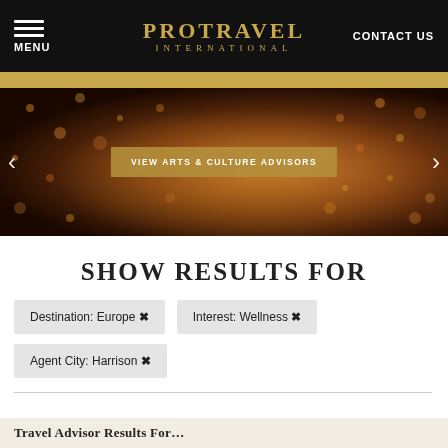MENU | PROTRAVEL INTERNATIONAL | CONTACT US
[Figure (photo): A person holding a glowing lantern at night surrounded by bokeh lights, with a golden overlay button 'VIEW ARTS & CULTURE ADVISORS']
SHOW RESULTS FOR
Destination: Europe ✕
Interest: Wellness ✕
Agent City: Harrison ✕
Travel Advisor Results For…